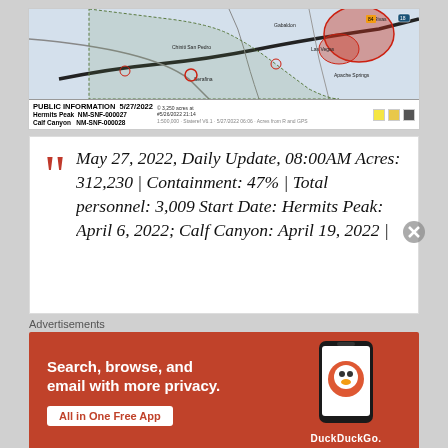[Figure (map): Wildfire map showing Hermits Peak and Calf Canyon fire area in New Mexico, dated 5/27/2022. Shows fire perimeter, US Forest Service boundary, county boundary, and surrounding towns. PUBLIC INFORMATION label with fire incident numbers NM-SNF-000027 and NM-SNF-000028.]
May 27, 2022, Daily Update, 08:00AM Acres: 312,230 | Containment: 47% | Total personnel: 3,009 Start Date: Hermits Peak: April 6, 2022; Calf Canyon: April 19, 2022 |
Advertisements
[Figure (screenshot): DuckDuckGo advertisement banner with orange background. Text: Search, browse, and email with more privacy. All in One Free App. Shows DuckDuckGo logo on a phone.]